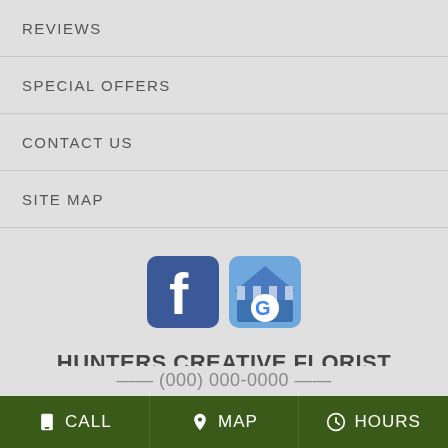REVIEWS
SPECIAL OFFERS
CONTACT US
SITE MAP
[Figure (logo): Facebook logo icon and Google My Business logo icon side by side]
HUNTERS CREATIVE FLORIST
182 SALUDA ST.
CHESTER, SC. 29706
CALL   MAP   HOURS